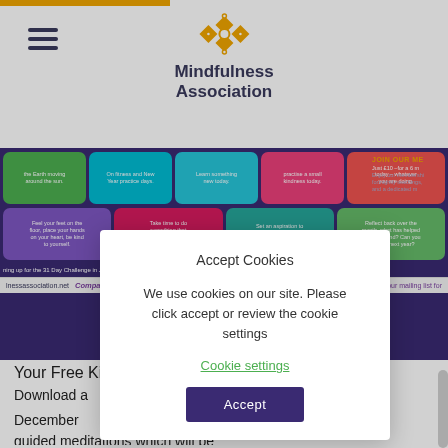[Figure (screenshot): Mindfulness Association website header with logo (gold diamond pattern) and hamburger menu icon, followed by a colorful banner showing 'Your Free Kindness Calendar' tiles in various colors (greens, purples, pinks, teals, reds) with kindness prompts, and a 'JOIN OUR ME(mbership)' section. Below the banner is a navigation bar showing website URL, 'Compassion Based Mindfulness' tagline, email address, and mailing list link.]
Your Free Kin...
Download a...
December ...
message e...
keep kind...
throughout...
wish you a...
we might s...
guided meditations which will be
[Figure (screenshot): Cookie consent modal dialog overlaying the page. Title: 'Accept Cookies'. Body text: 'We use cookies on our site. Please click accept or review the cookie settings'. Links: 'Cookie settings' in green. Button: 'Accept' in dark purple.]